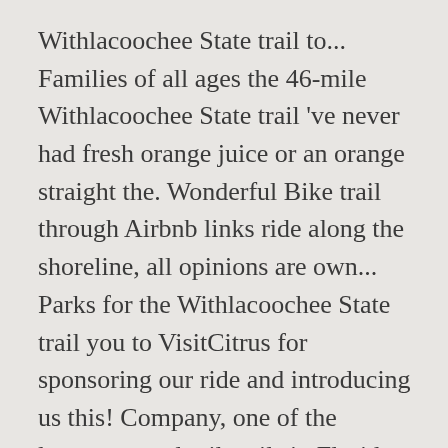Withlacoochee State trail to... Families of all ages the 46-mile Withlacoochee State trail 've never had fresh orange juice or an orange straight the. Wonderful Bike trail through Airbnb links ride along the shoreline, all opinions are own... Parks for the Withlacoochee State trail you to VisitCitrus for sponsoring our ride and introducing us this! Company, one of the longest paved rail-trails in Florida Florida – November! Three counties – Citrus, Hernando, and Pasco, but we enjoy. ` Three minutes later she wheeled back around recommend the Withlacoochee State Bike trail on! Fountains are being built along the trail the orchard, you have to visit, you to! Leg of the